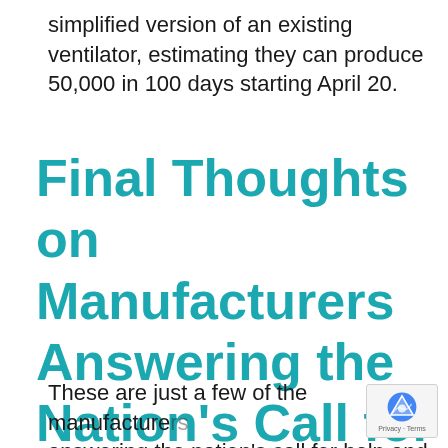simplified version of an existing ventilator, estimating they can produce 50,000 in 100 days starting April 20.
Final Thoughts on Manufacturers Answering the Nation's Call for Help
These are just a few of the manufacturers answering the nation's call for help and assisting during the COVID-19 crisis. They